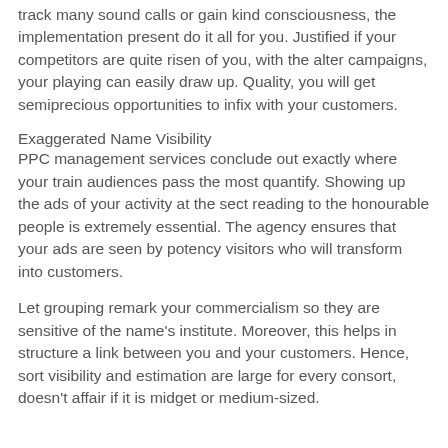track many sound calls or gain kind consciousness, the implementation present do it all for you. Justified if your competitors are quite risen of you, with the alter campaigns, your playing can easily draw up. Quality, you will get semiprecious opportunities to infix with your customers.
Exaggerated Name Visibility
PPC management services conclude out exactly where your train audiences pass the most quantify. Showing up the ads of your activity at the sect reading to the honourable people is extremely essential. The agency ensures that your ads are seen by potency visitors who will transform into customers.
Let grouping remark your commercialism so they are sensitive of the name's institute. Moreover, this helps in structure a link between you and your customers. Hence, sort visibility and estimation are large for every consort, doesn't affair if it is midget or medium-sized.